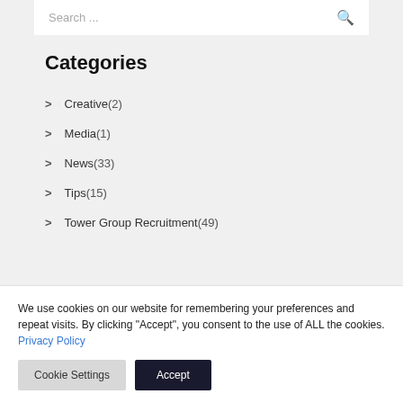Search ...
Categories
> Creative (2)
> Media (1)
> News (33)
> Tips (15)
> Tower Group Recruitment (49)
We use cookies on our website for remembering your preferences and repeat visits. By clicking "Accept", you consent to the use of ALL the cookies. Privacy Policy
Cookie Settings
Accept